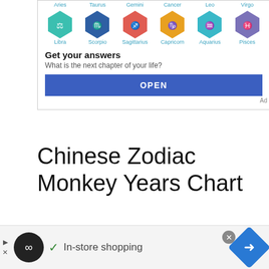[Figure (screenshot): Advertisement banner showing zodiac sign hexagonal icons (Libra, Scorpio, Sagittarius, Capricorn, Aquarius, Pisces) with text 'Get your answers - What is the next chapter of your life?' and a blue OPEN button. Ad label in bottom right.]
Chinese Zodiac Monkey Years Chart
| Year | Date | Chinese Zodiac |
| --- | --- | --- |
[Figure (screenshot): Bottom advertisement banner showing a play button, close X, infinity logo circle, checkmark with 'In-store shopping' text, and a blue navigation diamond icon on the right.]